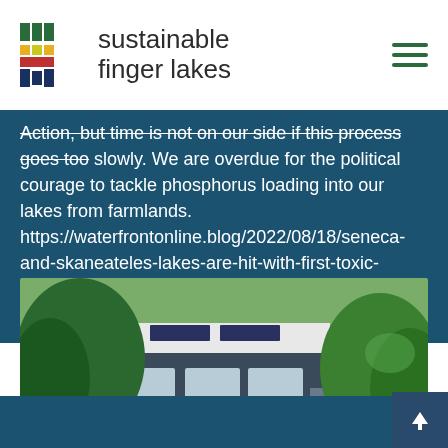sustainable finger lakes
Action, but time is not on our side if this process goes too slowly. We are overdue for the political courage to tackle phosphorus loading into our lakes from farmlands. https://waterfrontonline.blog/2022/08/18/seneca-and-skaneateles-lakes-are-hit-with-first-toxic-blooms-of-summer-plans-seek-to-cut-farming-phosphorus/
[Figure (photo): A house partially obscured by large green trees and shrubs, with solar panels visible on the roof, in a lush suburban setting.]